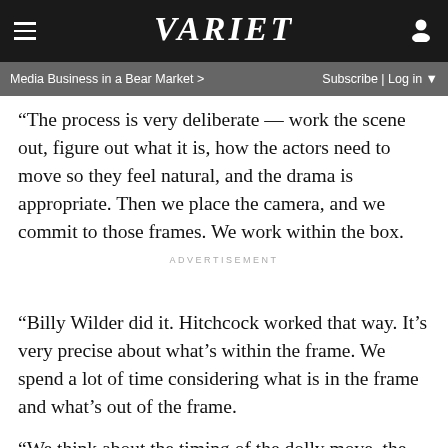VARIETY — Media Business in a Bear Market > | Subscribe | Log in
“The process is very deliberate — work the scene out, figure out what it is, how the actors need to move so they feel natural, and the drama is appropriate. Then we place the camera, and we commit to those frames. We work within the box.
ADVERTISEMENT
“Billy Wilder did it. Hitchcock worked that way. It’s very precise about what’s within the frame. We spend a lot of time considering what is in the frame and what’s out of the frame.
“We think about the timing of the dolly move, the speed of the pan, the speed of the tilt-up relative to the actor standing up. There are times when the speed of that actor rising with the tilt affects the audience’s experience differently from the actor’s